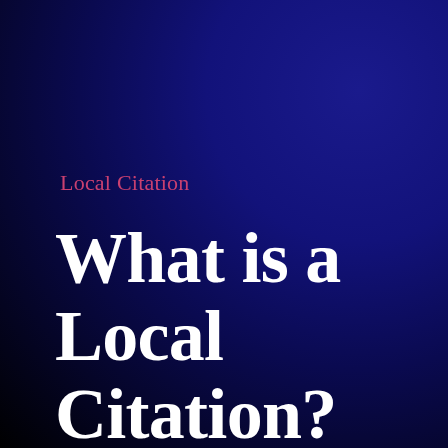Local Citation
What is a Local Citation?